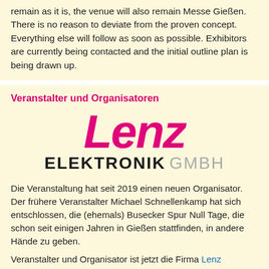remain as it is, the venue will also remain Messe Gießen. There is no reason to deviate from the proven concept. Everything else will follow as soon as possible. Exhibitors are currently being contacted and the initial outline plan is being drawn up.
Veranstalter und Organisatoren
[Figure (logo): Lenz Elektronik GmbH logo — 'Lenz' in large magenta italic bold text, below it 'ELEKTRONIK' in black bold uppercase and 'GMBH' in grey uppercase]
Die Veranstaltung hat seit 2019 einen neuen Organisator. Der frühere Veranstalter Michael Schnellenkamp hat sich entschlossen, die (ehemals) Busecker Spur Null Tage, die schon seit einigen Jahren in Gießen stattfinden, in andere Hände zu geben.
Veranstalter und Organisator ist jetzt die Firma Lenz